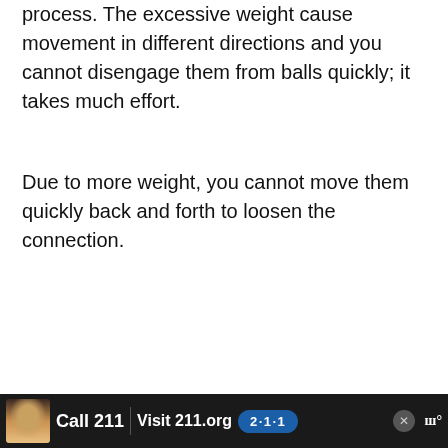process. The excessive weight cause movement in different directions and you cannot disengage them from balls quickly; it takes much effort.
Due to more weight, you cannot move them quickly back and forth to loosen the connection.
[Figure (screenshot): Advertisement for 211 service showing a woman with headset and braided hair wearing glasses, with text 'From Hello to Help, 211 is Here' and a blue 211 badge button. Side buttons show heart/like icon, number 1, and share icon. A 'What's Next' mini preview panel shows 'Why Won't My Trailer Light...']
[Figure (screenshot): Bottom banner advertisement for 211 with dark background showing 'Call 211 | Visit 211.org' with a blue 211 badge, small photo of woman, and a news logo on the right.]